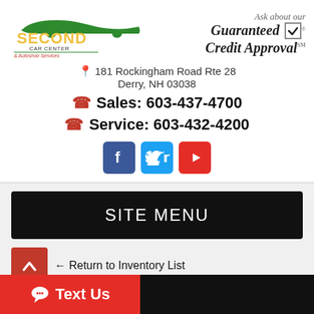[Figure (logo): Second Car Center & Autoshop Services logo with car silhouette in green, bold yellow/black SECOND text]
[Figure (logo): Ask about our Guaranteed Credit Approval logo with checkmark badge]
181 Rockingham Road Rte 28
Derry, NH 03038
Sales: 603-437-4700
Service: 603-432-4200
[Figure (infographic): Facebook, Twitter, and YouTube social media icon buttons]
SITE MENU
← Return to Inventory List
Text Us